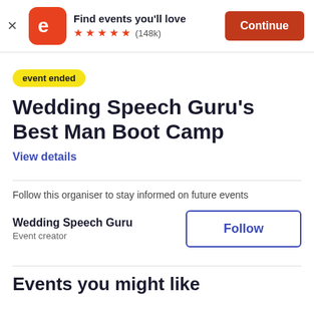[Figure (screenshot): Eventbrite app banner with logo, star rating (148k reviews), and Continue button]
event ended
Wedding Speech Guru's Best Man Boot Camp
View details
Follow this organiser to stay informed on future events
Wedding Speech Guru
Event creator
Follow
Events you might like